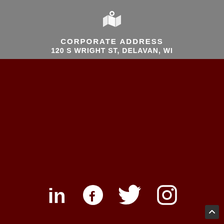[Figure (illustration): Map pin / location icon with map folds, white on gray background]
CORPORATE ADDRESS
120 S WRIGHT ST, DELAVAN, WI
[Figure (illustration): Social media icons row: LinkedIn, Facebook, Twitter, Instagram — white on dark red background]
[Figure (illustration): Small scroll-to-top button (upward chevron) in bottom-right corner]